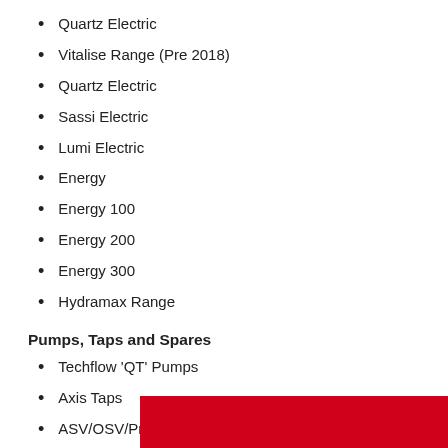Quartz Electric
Vitalise Range (Pre 2018)
Quartz Electric
Sassi Electric
Lumi Electric
Energy
Energy 100
Energy 200
Energy 300
Hydramax Range
Pumps, Taps and Spares
Techflow 'QT' Pumps
Axis Taps
ASV/OSV/Processor (Spare)
T